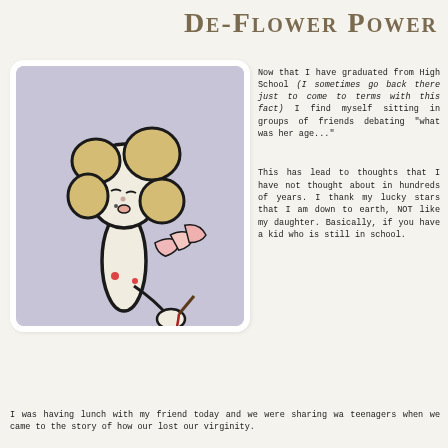De-Flower Power
[Figure (illustration): Cartoon illustration of a young woman with blonde hair in buns, leaning forward blowing petals off a flower she holds in her hand, on a lavender/mauve background. Stylized line art.]
Now that I have graduated from High School (I sometimes go back there just to come to terms with this fact) I find myself sitting in groups of friends debating "what was her age..."
This has lead to thoughts that I have not thought about in hundreds of years. I thank my lucky stars that I am down to earth, NOT like my daughter. Basically, if you have a kid who is still in school.
I was having lunch with my friend today and we were sharing was teenagers when we came to the story of how our lost our virginity.